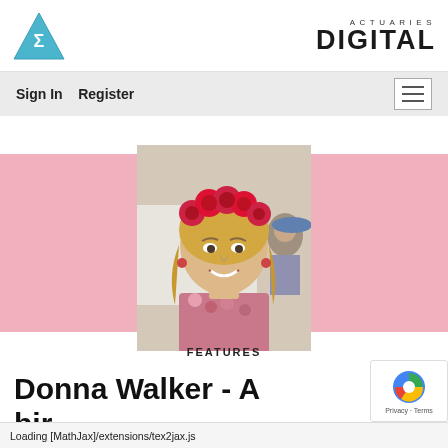[Figure (logo): Actuaries Institute blue triangle sigma logo]
ACTUARIES DIGITAL
Sign In   Register
[Figure (photo): Woman with red rose headpiece and floral dress, smiling, at an outdoor event with pink background band]
FEATURES
Donna Walker - A...bir
Loading [MathJax]/extensions/tex2jax.js